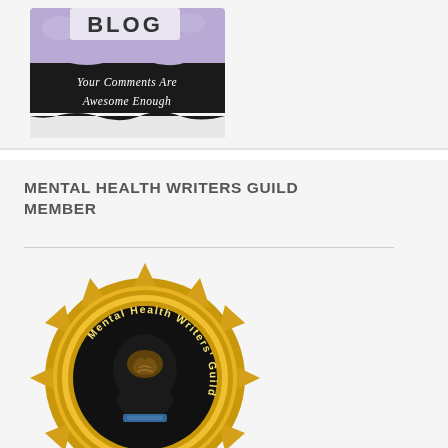[Figure (illustration): Blog badge/logo with purple/lavender background and black banner, text reads 'Your Comments Are Awesome Enough' in handwritten style]
MENTAL HEALTH WRITERS GUILD MEMBER
[Figure (illustration): Mental Health Writers' Guild 2015 Member badge — a gold rosette/medallion with gear-like petals, featuring a black silhouette of a head with a brain visible, text around circle reads 'Mental Health Writers' Guild', gold banner ribbon at bottom reads '2015 Member']